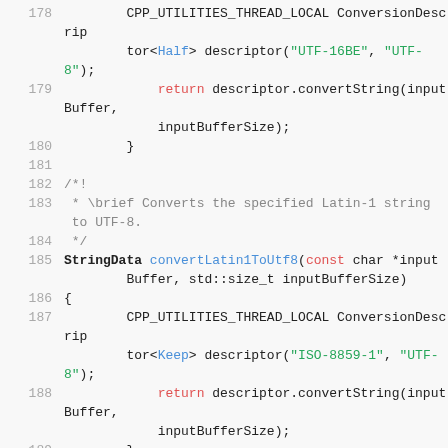Code listing lines 178-192: C++ source code showing UTF conversion functions
178     CPP_UTILITIES_THREAD_LOCAL ConversionDescriptor<Half> descriptor("UTF-16BE", "UTF-8");
179         return descriptor.convertString(inputBuffer, inputBufferSize);
180     }
181
182     /*!
183      * \brief Converts the specified Latin-1 string to UTF-8.
184      */
185     StringData convertLatin1ToUtf8(const char *inputBuffer, std::size_t inputBufferSize)
186     {
187         CPP_UTILITIES_THREAD_LOCAL ConversionDescriptor<Keep> descriptor("ISO-8859-1", "UTF-8");
188         return descriptor.convertString(inputBuffer, inputBufferSize);
189     }
190
191     /*!
192      * \brief Converts the specified UTF-8 string to Latin-1.
193      */